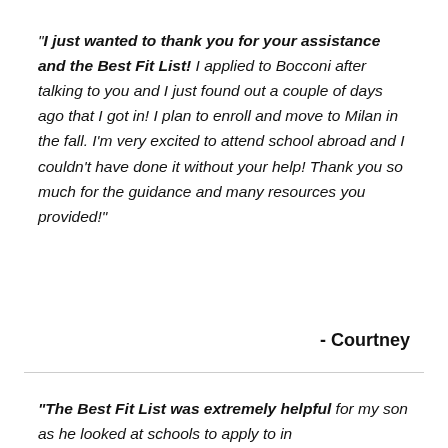"I just wanted to thank you for your assistance and the Best Fit List! I applied to Bocconi after talking to you and I just found out a couple of days ago that I got in! I plan to enroll and move to Milan in the fall. I'm very excited to attend school abroad and I couldn't have done it without your help! Thank you so much for the guidance and many resources you provided!"
- Courtney
"The Best Fit List was extremely helpful for my son as he looked at schools to apply to in